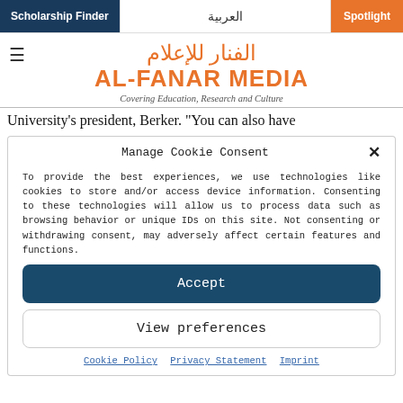Scholarship Finder | العربية | Spotlight
[Figure (logo): Al-Fanar Media logo with Arabic text and tagline 'Covering Education, Research and Culture']
University's president, Berker. "You can also have
Manage Cookie Consent
To provide the best experiences, we use technologies like cookies to store and/or access device information. Consenting to these technologies will allow us to process data such as browsing behavior or unique IDs on this site. Not consenting or withdrawing consent, may adversely affect certain features and functions.
Accept
View preferences
Cookie Policy | Privacy Statement | Imprint